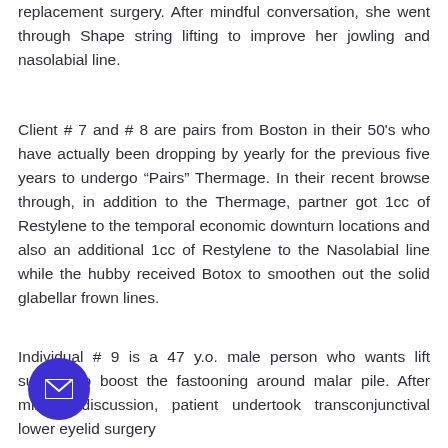replacement surgery. After mindful conversation, she went through Shape string lifting to improve her jowling and nasolabial line.
Client # 7 and # 8 are pairs from Boston in their 50's who have actually been dropping by yearly for the previous five years to undergo “Pairs” Thermage. In their recent browse through, in addition to the Thermage, partner got 1cc of Restylene to the temporal economic downturn locations and also an additional 1cc of Restylene to the Nasolabial line while the hubby received Botox to smoothen out the solid glabellar frown lines.
Individual # 9 is a 47 y.o. male person who wants lift surgery to boost the fastooning around malar pile. After mindful discussion, patient undertook transconjunctival lower eyelid surgery